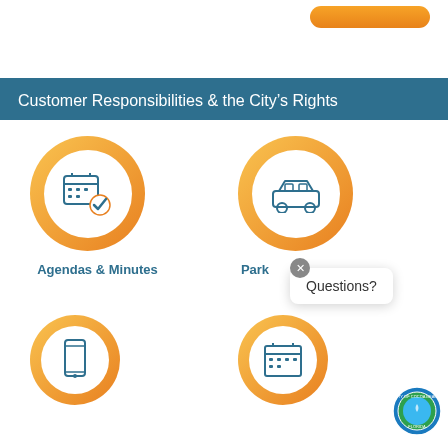[Figure (screenshot): Top bar with orange button partially visible]
Customer Responsibilities & the City's Rights
[Figure (infographic): Four circular icon buttons: Agendas & Minutes (calendar with checkmark), Parking (car icon), and two more partially visible. A 'Questions?' tooltip bubble is shown near the Parking icon. City of Cocoa Beach Florida seal visible in bottom right.]
Agendas & Minutes
Park
Questions?